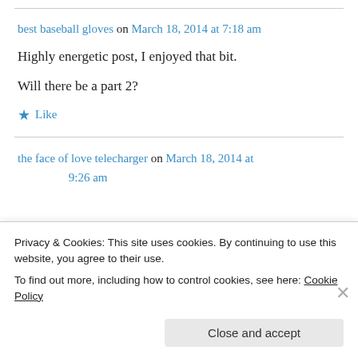best baseball gloves on March 18, 2014 at 7:18 am
Highly energetic post, I enjoyed that bit.

Will there be a part 2?
★ Like
the face of love telecharger on March 18, 2014 at 9:26 am
Privacy & Cookies: This site uses cookies. By continuing to use this website, you agree to their use.
To find out more, including how to control cookies, see here: Cookie Policy
Close and accept